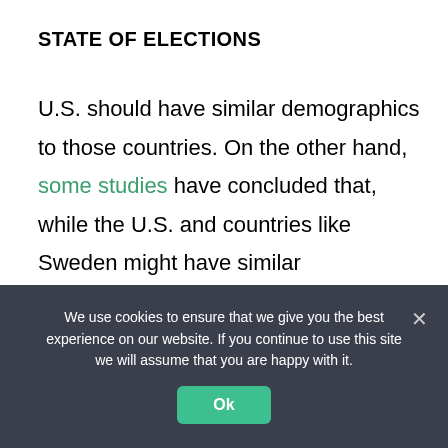STATE OF ELECTIONS
U.S. should have similar demographics to those countries. On the other hand, some studies have concluded that, while the U.S. and countries like Sweden might have similar demographic, the U.S. has far more negative campaigns than Sweden and other European countries, and that rising negative campaign in the past decades is
We use cookies to ensure that we give you the best experience on our website. If you continue to use this site we will assume that you are happy with it.
Ok